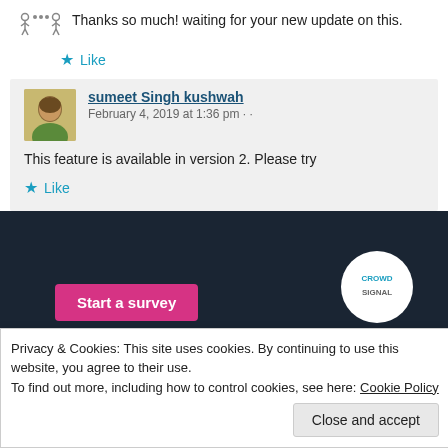Thanks so much! waiting for your new update on this.
Like
sumeet Singh kushwah  February 4, 2019 at 1:36 pm
This feature is available in version 2. Please try
Like
[Figure (screenshot): Dark banner section with pink 'Start a survey' button and Crowdsignal circular logo]
Privacy & Cookies: This site uses cookies. By continuing to use this website, you agree to their use.
To find out more, including how to control cookies, see here: Cookie Policy
Close and accept